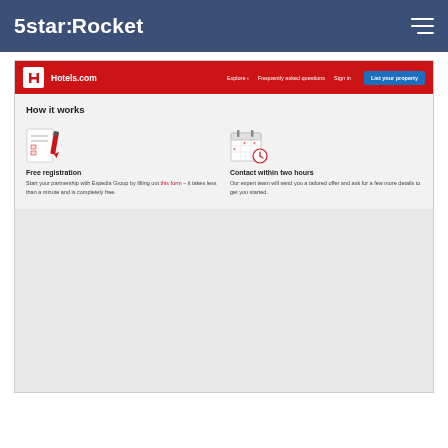5starRocket
[Figure (screenshot): Screenshot of the Hotels.com partner registration page showing a red navigation bar with Hotels.com branding, Explore, Frequently asked questions, Sign in links, and a blue 'List your property' button. Below the nav is a light gray content area with 'How it works' section showing two columns: 'Free registration' with a form/pencil icon and text about partnership with Expedia Group, and 'Contact within two hours' with a calendar icon and text about expert team response.]